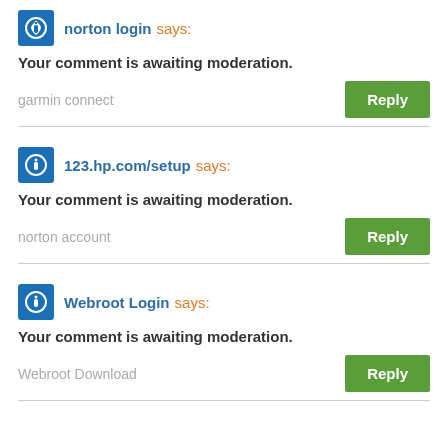norton login says:
Your comment is awaiting moderation.
garmin connect
123.hp.com/setup says:
Your comment is awaiting moderation.
norton account
Webroot Login says:
Your comment is awaiting moderation.
Webroot Download